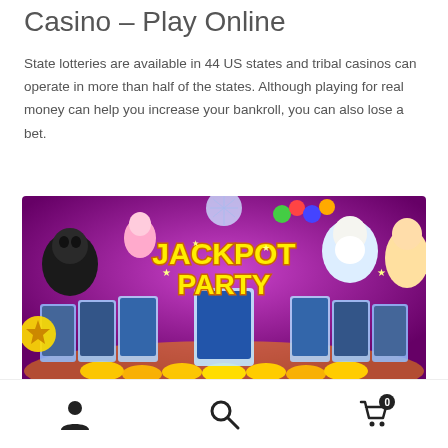Casino – Play Online
State lotteries are available in 44 US states and tribal casinos can operate in more than half of the states. Although playing for real money can help you increase your bankroll, you can also lose a bet.
[Figure (photo): Jackpot Party casino game promotional banner showing slot machines, casino characters, and gold coins with colorful text reading JACKPOT PARTY]
User icon, Search icon, Cart icon with badge 0